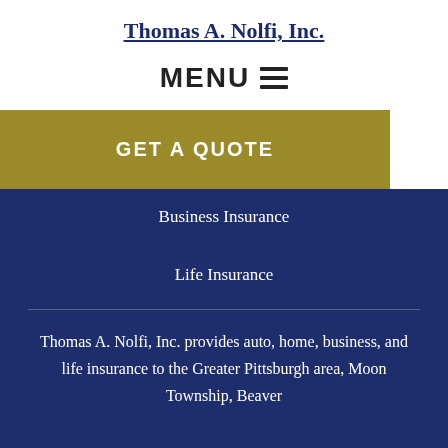Thomas A. Nolfi, Inc.
MENU ☰
GET A QUOTE
Business Insurance
Life Insurance
Thomas A. Nolfi, Inc. provides auto, home, business, and life insurance to the Greater Pittsburgh area, Moon Township, Beaver